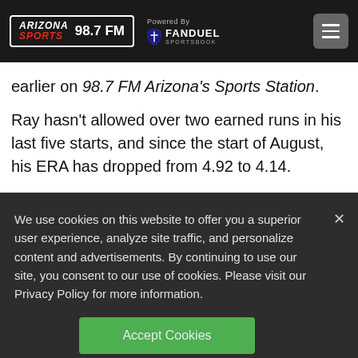Arizona Sports 98.7 FM — Powered By FanDuel Sportsbook
earlier on 98.7 FM Arizona's Sports Station.
Ray hasn't allowed over two earned runs in his last five starts, and since the start of August, his ERA has dropped from 4.92 to 4.14.
We use cookies on this website to offer you a superior user experience, analyze site traffic, and personalize content and advertisements. By continuing to use our site, you consent to our use of cookies. Please visit our Privacy Policy for more information.